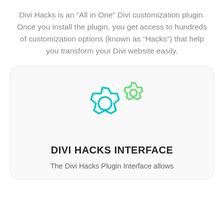Divi Hacks is an “All in One” Divi customization plugin. Once you install the plugin, you get access to hundreds of customization options (known as “Hacks”) that help you transform your Divi website easily.
[Figure (illustration): Two gear/cog icons: a larger cyan/teal gear on the left-bottom and a smaller green gear on the upper-right, overlapping slightly.]
DIVI HACKS INTERFACE
The Divi Hacks Plugin Interface allows